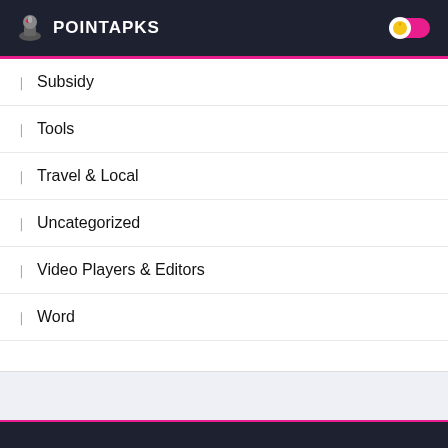POINTAPKS
Subsidy
Tools
Travel & Local
Uncategorized
Video Players & Editors
Word
© 2021 - All rights reserved - Point Apks